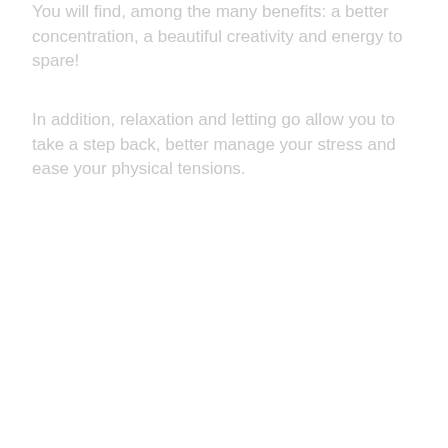You will find, among the many benefits: a better concentration, a beautiful creativity and energy to spare!
In addition, relaxation and letting go allow you to take a step back, better manage your stress and ease your physical tensions.